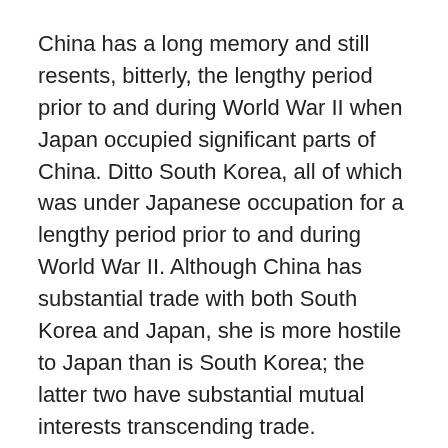China has a long memory and still resents, bitterly, the lengthy period prior to and during World War II when Japan occupied significant parts of China. Ditto South Korea, all of which was under Japanese occupation for a lengthy period prior to and during World War II. Although China has substantial trade with both South Korea and Japan, she is more hostile to Japan than is South Korea; the latter two have substantial mutual interests transcending trade.
Perhaps the most important current dispute between China on the one hand, and Japan-South Korea-America on the other, involves the plans of Japan and South Korea to defend against North Korean missiles by the installation of THAAD anti-missile weapons provided by America. China's stated reason for opposition to the THAAD system